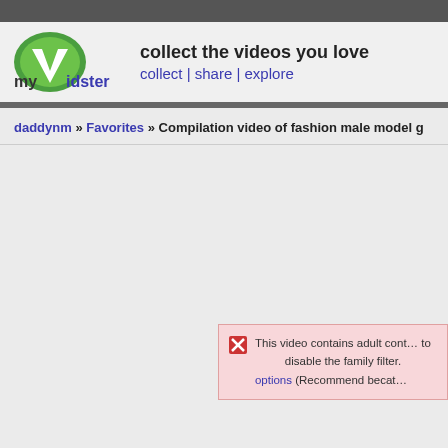myVidster — collect the videos you love | collect | share | explore
daddynm » Favorites » Compilation video of fashion male model g
This video contains adult cont… to disable the family filter. options (Recommend becat…